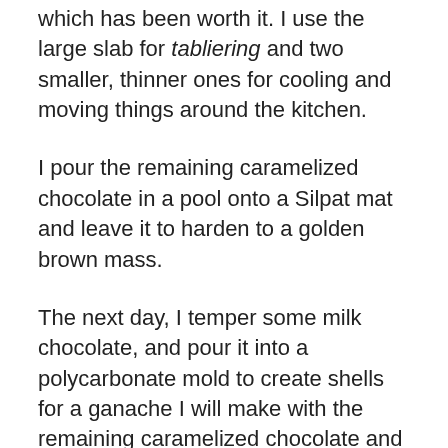which has been worth it. I use the large slab for tabliering and two smaller, thinner ones for cooling and moving things around the kitchen.
I pour the remaining caramelized chocolate in a pool onto a Silpat mat and leave it to harden to a golden brown mass.
The next day, I temper some milk chocolate, and pour it into a polycarbonate mold to create shells for a ganache I will make with the remaining caramelized chocolate and heavy cream.
Last week, I tried pairing the caramelized white chocolate with a winy dark chocolate (70% cocoa) — an Epic Fail. The sweet, biscuit taste of the